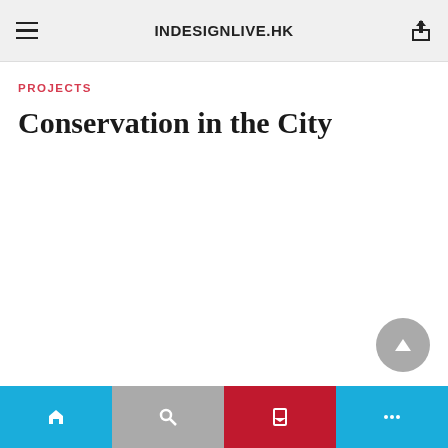INDESIGNLIVE.HK
PROJECTS
Conservation in the City
Navigation bar with four buttons